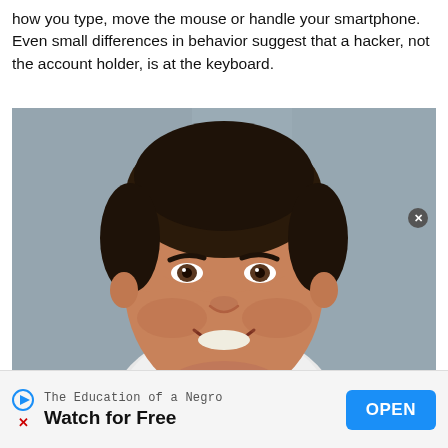how you type, move the mouse or handle your smartphone. Even small differences in behavior suggest that a hacker, not the account holder, is at the keyboard.
[Figure (photo): Headshot of a middle-aged man with dark hair, smiling, wearing a white shirt or blazer, against a grey background.]
The Education of a Negro
Watch for Free
OPEN